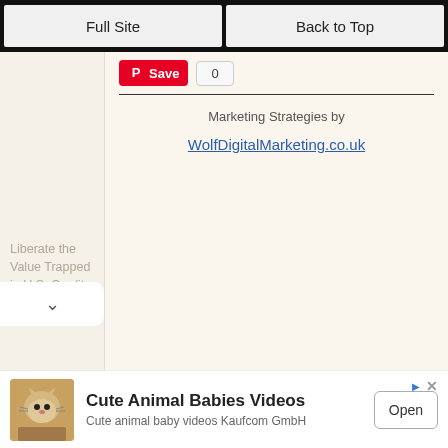Full Site | Back to Top
Liberate the Value Trapped in U.S. Credit Card Spending Data
LeapYear Technologies
[Figure (screenshot): Pinterest Save button with count 0, followed by a horizontal divider, 'Marketing Strategies by' text, and a link to WolfDigitalMarketing.co.uk]
Marketing Strategies by
WolfDigitalMarketing.co.uk
[Figure (photo): Advertisement banner showing a kitten photo with text 'Cute Animal Babies Videos', subtitle 'Cute animal baby videos Kaufcom GmbH', and an Open button]